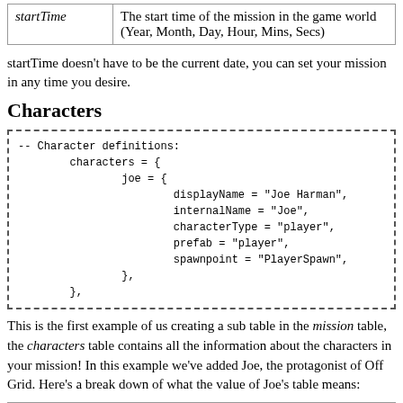| startTime | Description |
| --- | --- |
| startTime | The start time of the mission in the game world (Year, Month, Day, Hour, Mins, Secs) |
startTime doesn't have to be the current date, you can set your mission in any time you desire.
Characters
-- Character definitions:
        characters = {
                joe = {
                        displayName = "Joe Harman",
                        internalName = "Joe",
                        characterType = "player",
                        prefab = "player",
                        spawnpoint = "PlayerSpawn",
                },
        },
This is the first example of us creating a sub table in the mission table, the characters table contains all the information about the characters in your mission! In this example we've added Joe, the protagonist of Off Grid. Here's a break down of what the value of Joe's table means:
| Character Table |
| --- |